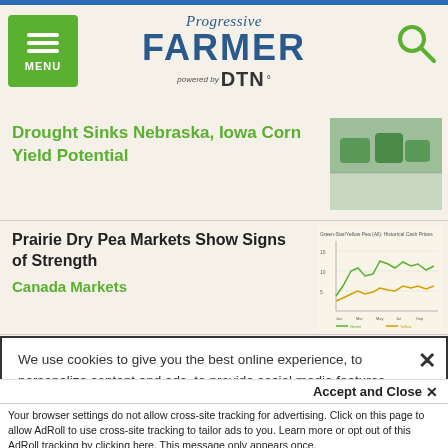Progressive Farmer powered by DTN
Drought Sinks Nebraska, Iowa Corn Yield Potential
Prairie Dry Pea Markets Show Signs of Strength
Canada Markets
We use cookies to give you the best online experience, to personalize content and ads, to provide social media features and to analyze traffic. By clicking 'Accept All Cookies' you will allow the use of these cookies. Your settings can be changed, including withdrawing your consent at any time, by clicking 'Cookie Settings'. Find out more on how we and third parties use cookies in our Cookie Policy
Accept and Close ×
Your browser settings do not allow cross-site tracking for advertising. Click on this page to allow AdRoll to use cross-site tracking to tailor ads to you. Learn more or opt out of this AdRoll tracking by clicking here. This message only appears once.